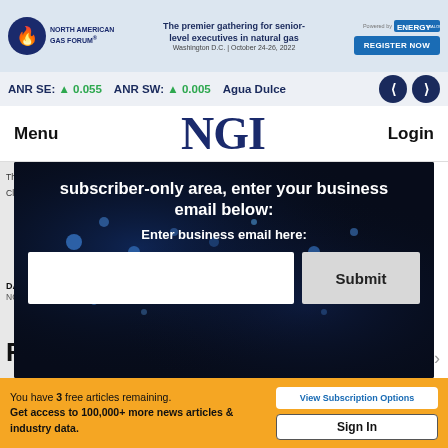[Figure (screenshot): North American Gas Forum advertisement banner with logo, tagline 'The premier gathering for senior-level executives in natural gas', Washington D.C. October 24-26 2022, with Register Now button and Energy Dialogues powered by logo]
ANR SE: ▲ 0.055   ANR SW: ▲ 0.005   Agua Dulce
Menu   NGI   Login
subscriber-only area, enter your business email below:
Enter business email here:
Th
Cli
DAI
NGI
Re
You have 3 free articles remaining.
Get access to 100,000+ more news articles & industry data.
View Subscription Options
Sign In